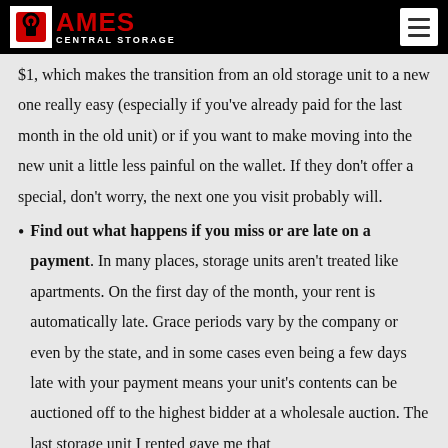AMES CENTRAL STORAGE
$1, which makes the transition from an old storage unit to a new one really easy (especially if you've already paid for the last month in the old unit) or if you want to make moving into the new unit a little less painful on the wallet. If they don't offer a special, don't worry, the next one you visit probably will.
Find out what happens if you miss or are late on a payment. In many places, storage units aren't treated like apartments. On the first day of the month, your rent is automatically late. Grace periods vary by the company or even by the state, and in some cases even being a few days late with your payment means your unit's contents can be auctioned off to the highest bidder at a wholesale auction. The last storage unit I rented gave me that